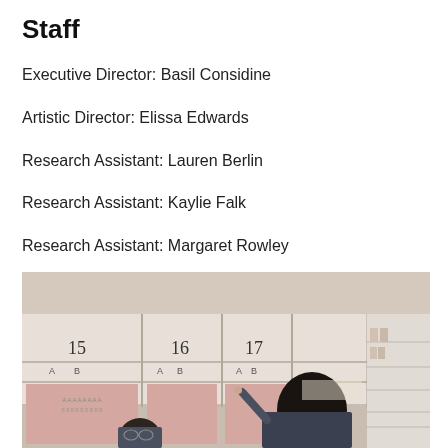Staff
Executive Director: Basil Considine
Artistic Director: Elissa Edwards
Research Assistant: Lauren Berlin
Research Assistant: Kaylie Falk
Research Assistant: Margaret Rowley
[Figure (photo): Two people examining numbered cabinet drawers (labeled 15, 16, 17, 18) in what appears to be an archive or library storage facility. One person points at labels on the drawers.]